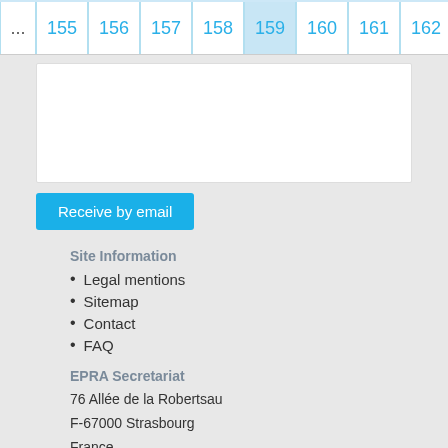... 155 156 157 158 159 160 161 162
[Figure (other): White content input box area]
Receive by email
Site Information
Legal mentions
Sitemap
Contact
FAQ
EPRA Secretariat
76 Allée de la Robertsau
F-67000 Strasbourg
France
Phone: +33 (0) 3 88 41 39 63
Social links
Rss feed